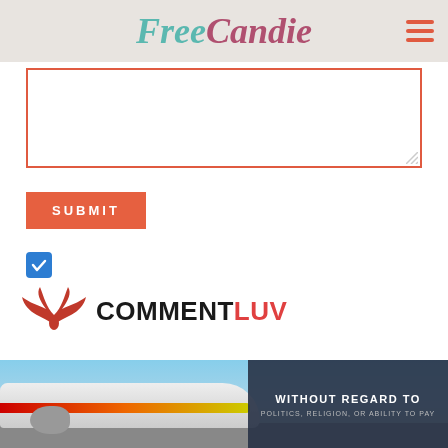FreeCandie
[Figure (screenshot): Text area comment input box with red/coral border]
SUBMIT
[Figure (logo): CommentLuv logo with red wings icon and COMMENTLUV text]
[Figure (photo): Airplane being loaded at airport with dark banner overlay reading WITHOUT REGARD TO POLITICS, RELIGION, OR ABILITY TO PAY]